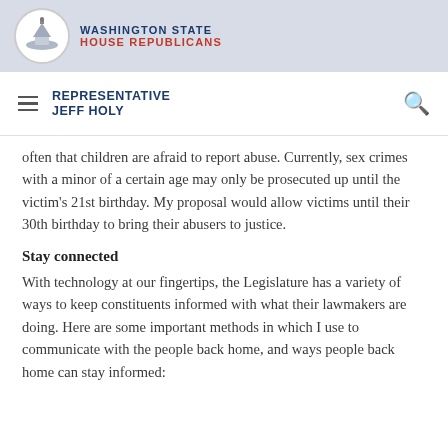WASHINGTON STATE HOUSE REPUBLICANS
REPRESENTATIVE JEFF HOLY
often that children are afraid to report abuse. Currently, sex crimes with a minor of a certain age may only be prosecuted up until the victim's 21st birthday. My proposal would allow victims until their 30th birthday to bring their abusers to justice.
Stay connected
With technology at our fingertips, the Legislature has a variety of ways to keep constituents informed with what their lawmakers are doing. Here are some important methods in which I use to communicate with the people back home, and ways people back home can stay informed: